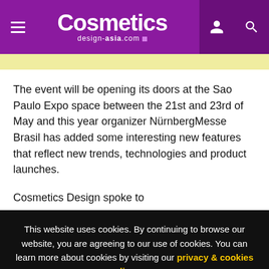Cosmetics design-asia.com
The event will be opening its doors at the Sao Paulo Expo space between the 21st and 23rd of May and this year organizer NürnbergMesse Brasil has added some interesting new features that reflect new trends, technologies and product launches.
Cosmetics Design spoke to
This website uses cookies. By continuing to browse our website, you are agreeing to our use of cookies. You can learn more about cookies by visiting our privacy & cookies policy page.